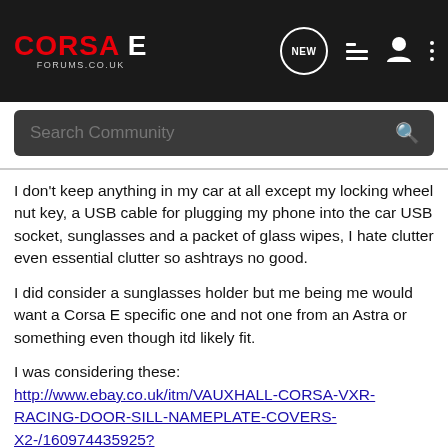CORSAE FORUMS.CO.UK
Search Community
I don't keep anything in my car at all except my locking wheel nut key, a USB cable for plugging my phone into the car USB socket, sunglasses and a packet of glass wipes, I hate clutter even essential clutter so ashtrays no good.
I did consider a sunglasses holder but me being me would want a Corsa E specific one and not one from an Astra or something even though itd likely fit.
I was considering these: http://www.ebay.co.uk/itm/VAUXHALL-CORSA-VXR-RACING-DOOR-SILL-NAMEPLATE-COVERS-X2-/160974435925?pt=LH_DefaultDomain_3&hash=item257ad2f655 But not sure if they'd look out of place as the car isnt a VX-Line, VXR or anything